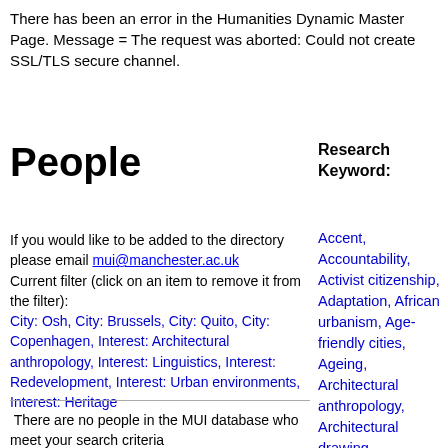There has been an error in the Humanities Dynamic Master Page. Message = The request was aborted: Could not create SSL/TLS secure channel.
People
Research Keyword:
If you would like to be added to the directory please email mui@manchester.ac.uk
Current filter (click on an item to remove it from the filter):
City: Osh, City: Brussels, City: Quito, City: Copenhagen, Interest: Architectural anthropology, Interest: Linguistics, Interest: Redevelopment, Interest: Urban environments, Interest: Heritage
There are no people in the MUI database who meet your search criteria
Accent, Accountability, Activist citizenship, Adaptation, African urbanism, Age-friendly cities, Ageing, Architectural anthropology, Architectural drawing, Architectural ethnography, Architecture, Art, Aspiration, Atmosphere, Austerity,